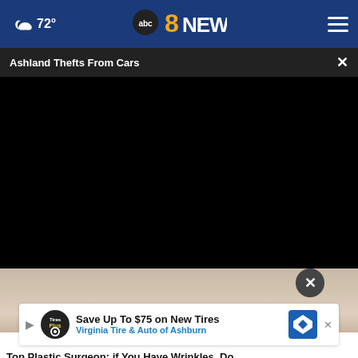72° abc8NEWS
Ashland Thefts From Cars
[Figure (photo): Black video player area (video not loaded/black screen)]
[Figure (photo): Close-up photo of a person's face (chin/lip area visible), partially shown below video]
[Figure (infographic): Advertisement banner: Save Up To $75 on New Tires - Virginia Tire & Auto of Ashburn, with Tires Plus logo and navigation icon]
Top Plastic Surgeon: if You Have Wrinkles, Do...